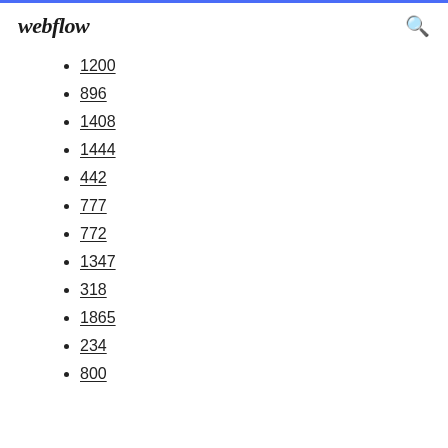webflow
1200
896
1408
1444
442
777
772
1347
318
1865
234
800